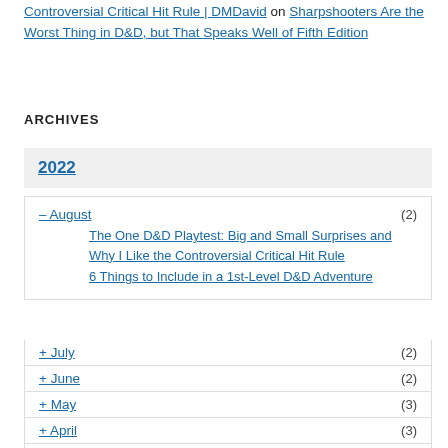Controversial Critical Hit Rule | DMDavid on Sharpshooters Are the Worst Thing in D&D, but That Speaks Well of Fifth Edition
ARCHIVES
2022
– August (2)
The One D&D Playtest: Big and Small Surprises and Why I Like the Controversial Critical Hit Rule
6 Things to Include in a 1st-Level D&D Adventure
+ July (2)
+ June (2)
+ May (3)
+ April (3)
+ March (3)
+ February (2)